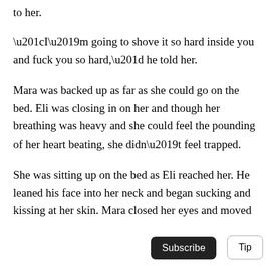to her.
“I’m going to shove it so hard inside you and fuck you so hard,” he told her.
Mara was backed up as far as she could go on the bed. Eli was closing in on her and though her breathing was heavy and she could feel the pounding of her heart beating, she didn’t feel trapped.
She was sitting up on the bed as Eli reached her. He leaned his face into her neck and began sucking and kissing at her skin. Mara closed her eyes and moved
[Figure (illustration): Small illustration of a high-heeled shoe in black silhouette at the bottom left]
Subscribe   Tip